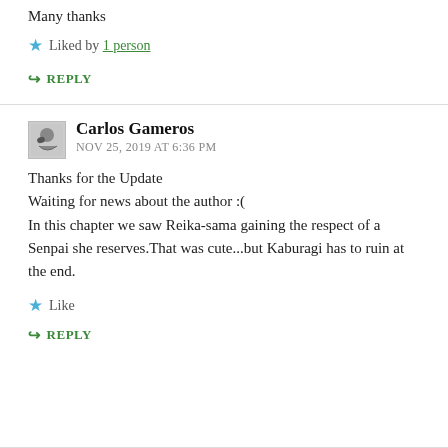Many thanks
Liked by 1 person
↳ REPLY
Carlos Gameros
NOV 25, 2019 AT 6:36 PM
Thanks for the Update
Waiting for news about the author :(
In this chapter we saw Reika-sama gaining the respect of a Senpai she reserves.That was cute...but Kaburagi has to ruin at the end.
Like
↳ REPLY